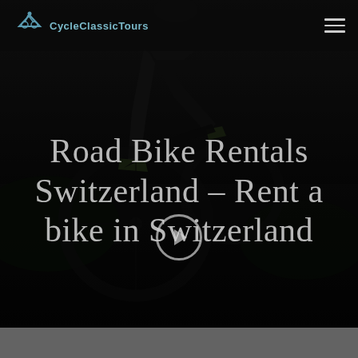[Figure (photo): Dark background photo of a cyclist riding a road bike, semi-silhouetted against a dim outdoor scene. The image is heavily darkened with low contrast, showing the cyclist from approximately knee to wheel level.]
CycleClassicTours [logo with cyclist icon]
Road Bike Rentals Switzerland – Rent a bike in Switzerland